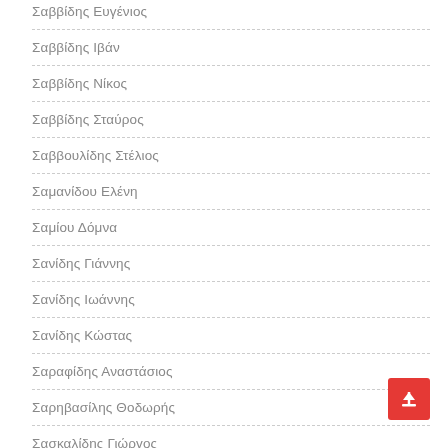Σαββίδης Ευγένιος
Σαββίδης Ιβάν
Σαββίδης Νίκος
Σαββίδης Σταύρος
Σαββουλίδης Στέλιος
Σαμανίδου Ελένη
Σαμίου Δόμνα
Σανίδης Γιάννης
Σανίδης Ιωάννης
Σανίδης Κώστας
Σαραφίδης Αναστάσιος
Σαρηβασίλης Θοδωρής
Σασκαλίδης Γιώργος